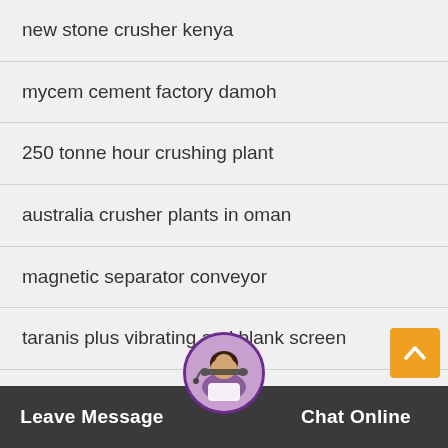new stone crusher kenya
mycem cement factory damoh
250 tonne hour crushing plant
australia crusher plants in oman
magnetic separator conveyor
taranis plus vibrating and blank screen
economic new pottery feldspar magnetic separator s
rock crushing toggle m...h
[Figure (photo): Customer service representative avatar with headset, circular photo used for chat widget]
Leave Message    Chat Online